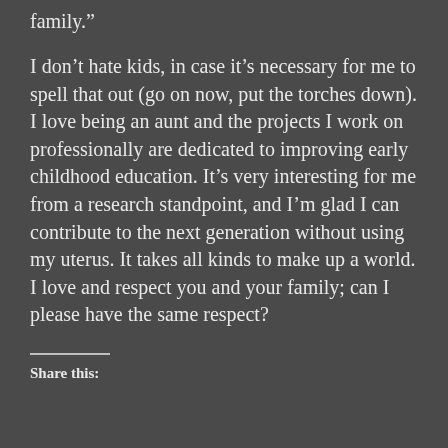family.”
I don’t hate kids, in case it’s necessary for me to spell that out (go on now, put the torches down). I love being an aunt and the projects I work on professionally are dedicated to improving early childhood education. It’s very interesting for me from a research standpoint, and I’m glad I can contribute to the next generation without using my uterus. It takes all kinds to make up a world. I love and respect you and your family; can I please have the same respect?
Share this: